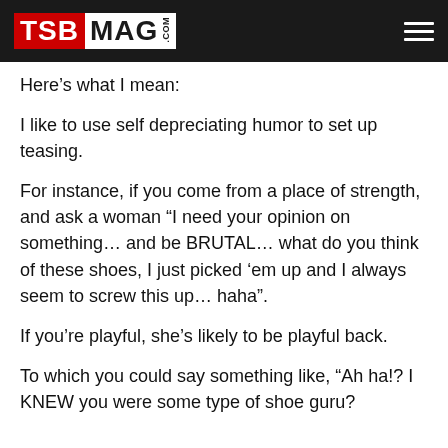TSB MAG .COM
Here’s what I mean:
I like to use self depreciating humor to set up teasing.
For instance, if you come from a place of strength, and ask a woman “I need your opinion on something… and be BRUTAL… what do you think of these shoes, I just picked ‘em up and I always seem to screw this up… haha”.
If you’re playful, she’s likely to be playful back.
To which you could say something like, “Ah ha!? I KNEW you were some type of shoe guru?